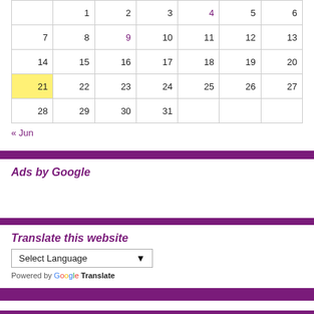|  | 1 | 2 | 3 | 4 | 5 | 6 |
| 7 | 8 | 9 | 10 | 11 | 12 | 13 |
| 14 | 15 | 16 | 17 | 18 | 19 | 20 |
| 21 | 22 | 23 | 24 | 25 | 26 | 27 |
| 28 | 29 | 30 | 31 |  |  |  |
« Jun
Ads by Google
Translate this website
Select Language
Powered by Google Translate